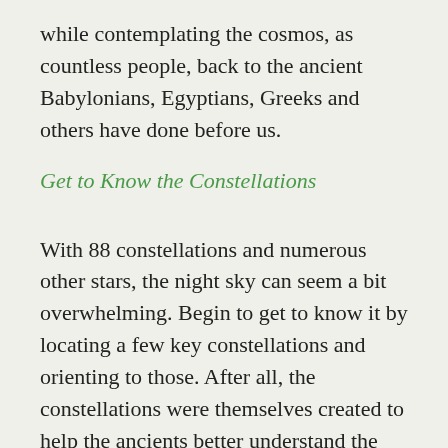while contemplating the cosmos, as countless people, back to the ancient Babylonians, Egyptians, Greeks and others have done before us.
Get to Know the Constellations
With 88 constellations and numerous other stars, the night sky can seem a bit overwhelming. Begin to get to know it by locating a few key constellations and orienting to those. After all, the constellations were themselves created to help the ancients better understand the night sky.
The Big Dipper, which is part of a larger constellation, is a great starting point, as it has an identifiable shape and is usually visible over much of the Northern Hemisphere. It appears